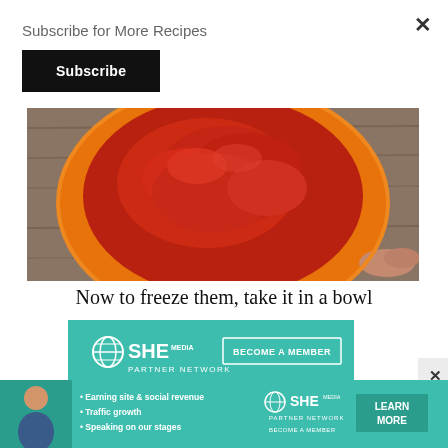Subscribe for More Recipes
Subscribe
[Figure (photo): Orange bowl filled with red tomato sauce/salsa, viewed from above, on a wooden surface with a hand partially visible]
Now to freeze them, take it in a bowl
[Figure (infographic): SHE Media Partner Network advertisement with teal background. Shows SHE MEDIA logo, BECOME A MEMBER button, dollar sign icon, and text 'Earning site & social revenue']
[Figure (infographic): Bottom banner ad for SHE Media Partner Network. Shows woman photo, bullet points: Earning site & social revenue, Traffic growth, Speaking on our stages. SHE MEDIA logo, BECOME A MEMBER, LEARN MORE button]